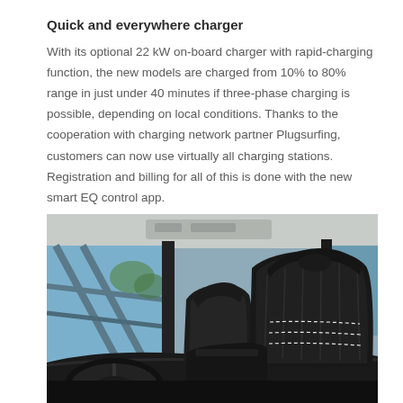Quick and everywhere charger
With its optional 22 kW on-board charger with rapid-charging function, the new models are charged from 10% to 80% range in just under 40 minutes if three-phase charging is possible, depending on local conditions. Thanks to the cooperation with charging network partner Plugsurfing, customers can now use virtually all charging stations. Registration and billing for all of this is done with the new smart EQ control app.
[Figure (photo): Interior view of a smart EQ electric car showing black sport seats with white stitching, dashboard, and windows looking out to a modern architectural structure.]